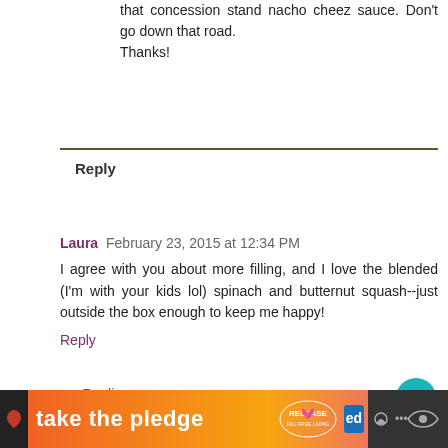that concession stand nacho cheez sauce. Don't go down that road.
Thanks!
Reply
Laura  February 23, 2015 at 12:34 PM
I agree with you about more filling, and I love the blended (I'm with your kids lol) spinach and butternut squash--just outside the box enough to keep me happy!
Reply
▾ Replies
Kirsten  February 24, 2015 at 5:24 AM
Laura,
If I could come up with the right dipper, a lasagna dip
take the pledge